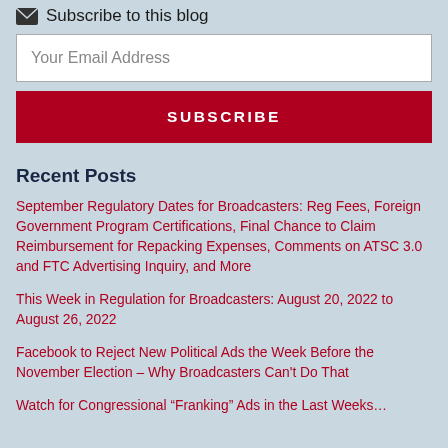Subscribe to this blog
Your Email Address
SUBSCRIBE
Recent Posts
September Regulatory Dates for Broadcasters:  Reg Fees, Foreign Government Program Certifications, Final Chance to Claim Reimbursement for Repacking Expenses, Comments on ATSC 3.0 and FTC Advertising Inquiry, and More
This Week in Regulation for Broadcasters: August 20, 2022 to August 26, 2022
Facebook to Reject New Political Ads the Week Before the November Election – Why Broadcasters Can't Do That
Watch for Congressional “Franking” Ads in the Last Weeks…